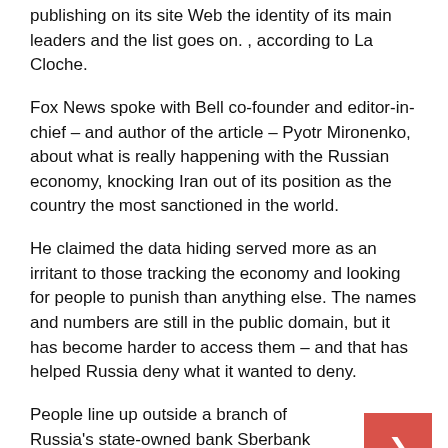publishing on its site Web the identity of its main leaders and the list goes on. , according to La Cloche.
Fox News spoke with Bell co-founder and editor-in-chief – and author of the article – Pyotr Mironenko, about what is really happening with the Russian economy, knocking Iran out of its position as the country the most sanctioned in the world.
He claimed the data hiding served more as an irritant to those tracking the economy and looking for people to punish than anything else. The names and numbers are still in the public domain, but it has become harder to access them – and that has helped Russia deny what it wanted to deny.
People line up outside a branch of Russia's state-owned bank Sberbank (MICHAL CIZEK/AFP via Getty Images/Getty Images)
RUSSIA SEEKS TO CUT GAS SUPPLY TO FINLAND AS PART OF NATO BID
R